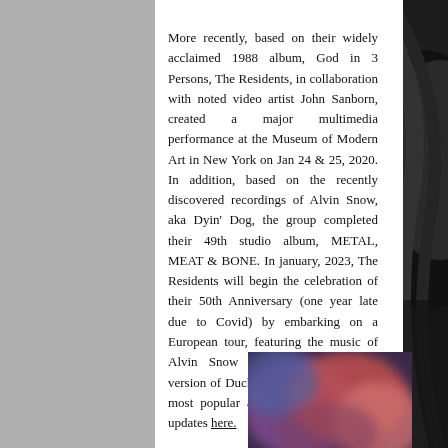More recently, based on their widely acclaimed 1988 album, God in 3 Persons, The Residents, in collaboration with noted video artist John Sanborn, created a major multimedia performance at the Museum of Modern Art in New York on Jan 24 & 25, 2020. In addition, based on the recently discovered recordings of Alvin Snow, aka Dyin' Dog, the group completed their 49th studio album, METAL, MEAT & BONE. In january, 2023, The Residents will begin the celebration of their 50th Anniversary (one year late due to Covid) by embarking on a European tour, featuring the music of Alvin Snow along with a revised version of Duck Stab, one of the band's most popular albums. Check out live updates here.
[Figure (photo): Blurred colorful photo at the bottom of the page, appears to show a performer or concert scene with purple, red and blue tones]